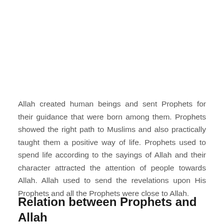Allah created human beings and sent Prophets for their guidance that were born among them. Prophets showed the right path to Muslims and also practically taught them a positive way of life. Prophets used to spend life according to the sayings of Allah and their character attracted the attention of people towards Allah. Allah used to send the revelations upon His Prophets and all the Prophets were close to Allah.
Relation between Prophets and Allah